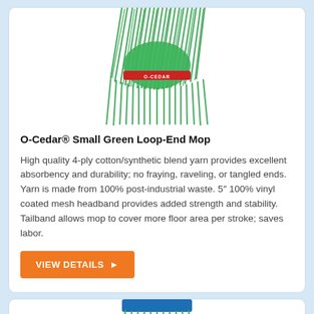[Figure (photo): Green loop-end mop with a red O-Cedar branded band around the yarn, shown from above with strands hanging down]
O-Cedar® Small Green Loop-End Mop
High quality 4-ply cotton/synthetic blend yarn provides excellent absorbency and durability; no fraying, raveling, or tangled ends. Yarn is made from 100% post-industrial waste. 5″ 100% vinyl coated mesh headband provides added strength and stability. Tailband allows mop to cover more floor area per stroke; saves labor.
VIEW DETAILS ▶
[Figure (photo): Partial view of another mop with blue and green yarn bands at the bottom of the page]